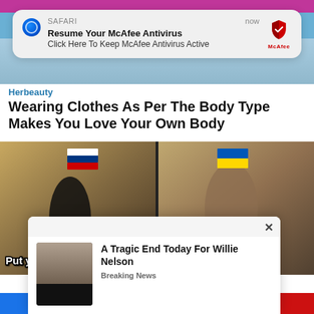[Figure (screenshot): Top portion of a mobile screen showing a partial image with pink/blue background]
[Figure (screenshot): Safari browser notification banner: 'Resume Your McAfee Antivirus / Click Here To Keep McAfee Antivirus Active' with McAfee shield logo, labeled 'SAFARI' and 'now']
Herbeauty
Wearing Clothes As Per The Body Type Makes You Love Your Own Body
[Figure (screenshot): Meme image split into two panels. Left panel has Russian flag and text 'Put your hands up.' Right panel has Ukraine flag and text 'No.']
[Figure (screenshot): Ad popup overlay: 'A Tragic End Today For Willie Nelson / Breaking News' with a photo of an elderly man]